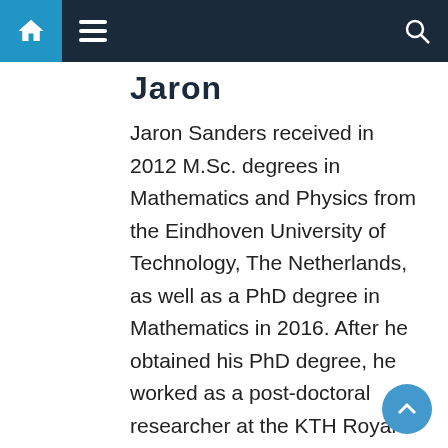Navigation bar with home, menu, and search icons
Jaron
Jaron Sanders received in 2012 M.Sc. degrees in Mathematics and Physics from the Eindhoven University of Technology, The Netherlands, as well as a PhD degree in Mathematics in 2016. After he obtained his PhD degree, he worked as a post-doctoral researcher at the KTH Royal Institute of Technology in Stockholm, Sweden. Jaron Sanders then worked as an assistant professor at the Delft University of Technology, and now works as an assistant professor at the Eindhoven University of Technology. His research interests are applied probability, queueing theory, stochastic optimization, stochastic networks,